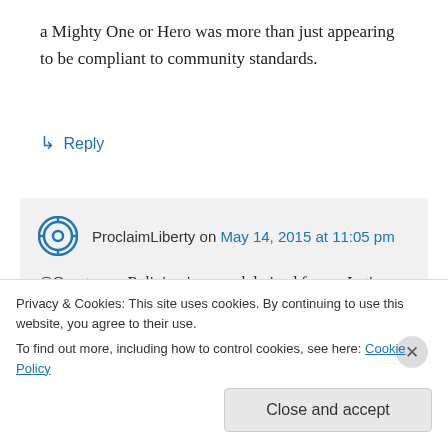a Mighty One or Hero was more than just appearing to be compliant to community standards.
↳ Reply
ProclaimLiberty on May 14, 2015 at 11:05 pm
@Questor — Religion is a word derived from a Latin term that means a vow. As such, it represents one's dedication to
Privacy & Cookies: This site uses cookies. By continuing to use this website, you agree to their use.
To find out more, including how to control cookies, see here: Cookie Policy
Close and accept